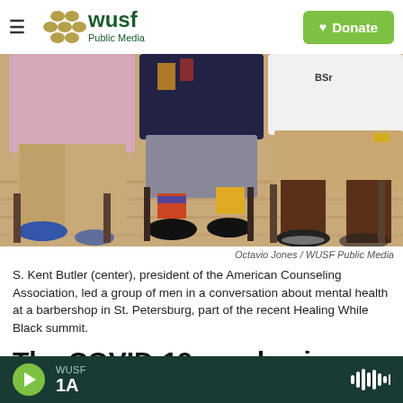WUSF Public Media
[Figure (photo): Three men seated in chairs from the waist down, showing various footwear and clothing on a wooden floor. The man on the left wears a pink/lavender plaid shirt and khaki pants with blue shoes. The man in the center wears a dark top and gray pants with colorful socks and black shoes. The man on the right wears a white shirt and shorts.]
Octavio Jones / WUSF Public Media
S. Kent Butler (center), president of the American Counseling Association, led a group of men in a conversation about mental health at a barbershop in St. Petersburg, part of the recent Healing While Black summit.
The COVID-19 pandemic continues to stress the
WUSF 1A